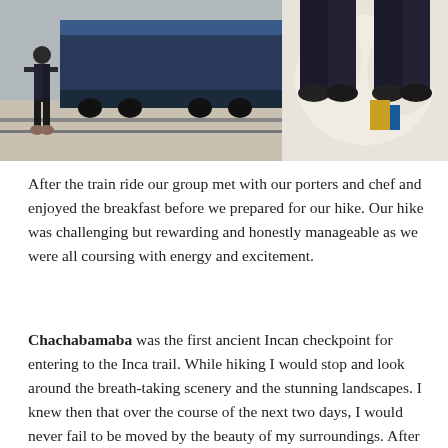[Figure (photo): Person standing next to a train on tracks, wearing dark clothing and hiking boots]
[Figure (photo): Close-up view looking down at two people's feet/legs, wearing dark pants]
After the train ride our group met with our porters and chef and enjoyed the breakfast before we prepared for our hike. Our hike was challenging but rewarding and honestly manageable as we were all coursing with energy and excitement.
Chachabamaba was the first ancient Incan checkpoint for entering to the Inca trail. While hiking I would stop and look around the breath-taking scenery and the stunning landscapes. I knew then that over the course of the next two days, I would never fail to be moved by the beauty of my surroundings. After the first three hours of climbing we reached the most famous Inca site along the trail, Wiñay Wayna. This site was a teaser to what was coming at Machu Picchu and I couldn't have been more excited. Wiñay Wayna consists of two constructions, one is located on the top, and the other is below that, united by a type of stairways, where you can see